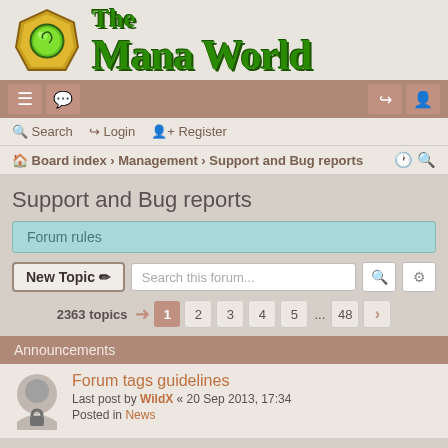[Figure (logo): The Mana World logo with gem icon and green stylized text]
Navigation bar with menu, chat, login and register icons
Search  Login  Register
Board index > Management > Support and Bug reports
Support and Bug reports
Forum rules
New Topic  Search this forum...
2363 topics  1 2 3 4 5 ... 48 >
Announcements
Forum tags guidelines
Last post by WildX « 20 Sep 2013, 17:34
Posted in News